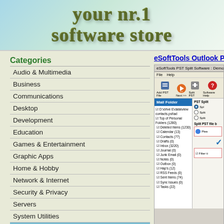[Figure (illustration): Website header banner with light blue-green gradient background and stylized bold dark olive/green text reading 'Your Nr.1 Software Store']
Categories
Audio & Multimedia
Business
Communications
Desktop
Development
Education
Games & Entertainment
Graphic Apps
Home & Hobby
Network & Internet
Security & Privacy
Servers
System Utilities
» Automation Tools
eSoftTools Outlook P
[Figure (screenshot): Screenshot of eSoftTools PST Split Software Demo Version 2.5, showing the main interface with toolbar buttons (Add PST File, Next>>, Split PST, Software Help), a Mail Folder tree panel on the left with checked folders (Deleted Items, Calendar, Contacts, Drafts, Inbox, Journal, Junk Email, Notes, Outbox, Naps, RSS Feeds, Sent Items, Sync Issues, Tasks), and a PST Split options panel on the right with radio buttons and input fields, including a Filter option at bottom.]